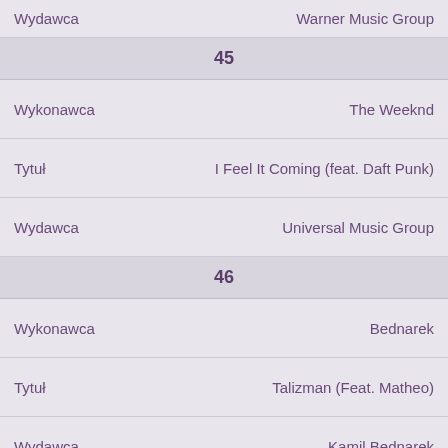| Label | Value |
| --- | --- |
| Wydawca | Warner Music Group |
45
| Label | Value |
| --- | --- |
| Wykonawca | The Weeknd |
| Tytuł | I Feel It Coming (feat. Daft Punk) |
| Wydawca | Universal Music Group |
46
| Label | Value |
| --- | --- |
| Wykonawca | Bednarek |
| Tytuł | Talizman (Feat. Matheo) |
| Wydawca | Kamil Bednarek |
Strona przechowuje informacje w plikach Cookies na Twoim komputerze w celu identyfika i zapamiętywania ustawień.
Twoja przeglądarka pozwala na określanie warunków przechowywania tych informacji.
Szczegóły w Polityce Prywatności.
ZAMKNIJ